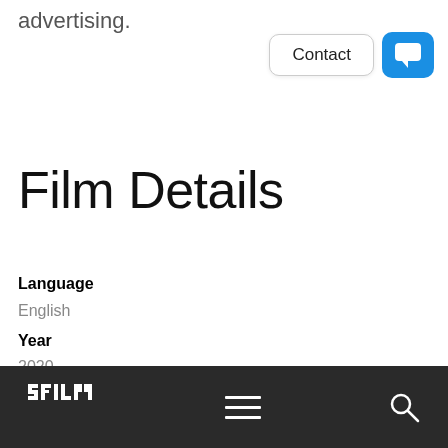advertising.
[Figure (screenshot): Contact button and blue chat bubble button in top right corner]
Film Details
Language
English
Year
2020
Premiere
California
SFILM logo, hamburger menu, search icon